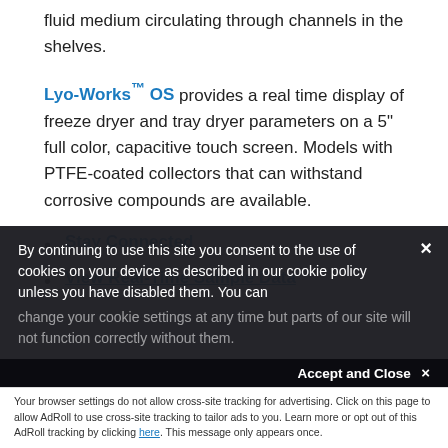fluid medium circulating through channels in the shelves.
Lyo-Works™ OS provides a real time display of freeze dryer and tray dryer parameters on a 5" full color, capacitive touch screen. Models with PTFE-coated collectors that can withstand corrosive compounds are available.
Stay Connected
View Real-Time Sample Data
By continuing to use this site you consent to the use of cookies on your device as described in our cookie policy unless you have disabled them. You can
Accept and Close ×
Your browser settings do not allow cross-site tracking for advertising. Click on this page to allow AdRoll to use cross-site tracking to tailor ads to you. Learn more or opt out of this AdRoll tracking by clicking here. This message only appears once.